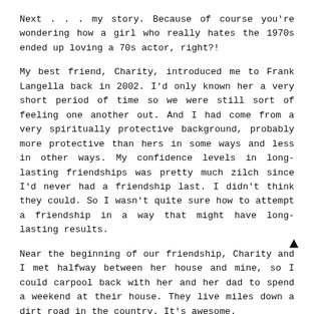Next . . . my story. Because of course you're wondering how a girl who really hates the 1970s ended up loving a 70s actor, right?!
My best friend, Charity, introduced me to Frank Langella back in 2002. I'd only known her a very short period of time so we were still sort of feeling one another out. And I had come from a very spiritually protective background, probably more protective than hers in some ways and less in other ways. My confidence levels in long-lasting friendships was pretty much zilch since I'd never had a friendship last. I didn't think they could. So I wasn't quite sure how to attempt a friendship in a way that might have long-lasting results.
Near the beginning of our friendship, Charity and I met halfway between her house and mine, so I could carpool back with her and her dad to spend a weekend at their house. They live miles down a dirt road in the country. It's awesome.
We met in a Borders bookstore (before they went bankrupt) and I caught on immediately to a strange aloofness from her. Talk